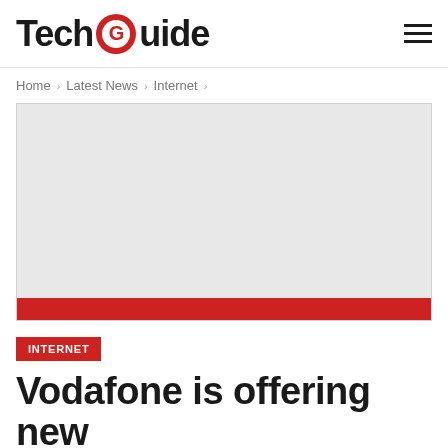TechGuide
Home > Latest News > Internet >
[Figure (other): Advertisement placeholder box, light grey background with red strip at bottom]
INTERNET
Vodafone is offering new